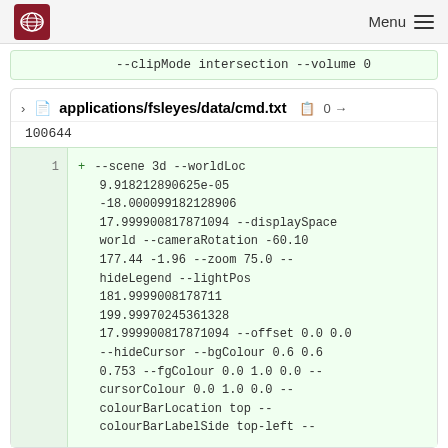Menu
--clipMode intersection --volume 0
applications/fsleyes/data/cmd.txt  0 → 100644
1  + --scene 3d --worldLoc 9.918212890625e-05 -18.000099182128906 17.999900817871094 --displaySpace world --cameraRotation -60.10 177.44 -1.96 --zoom 75.0 --hideLegend --lightPos 181.9999008178711 199.99970245361328 17.999900817871094 --offset 0.0 0.0 --hideCursor --bgColour 0.6 0.6 0.753 --fgColour 0.0 1.0 0.0 --cursorColour 0.0 1.0 0.0 --colourBarLocation top --colourBarLabelSide top-left --